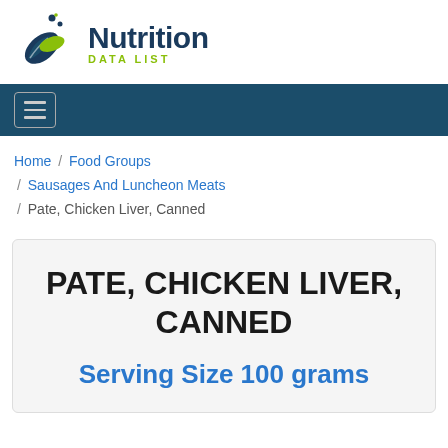[Figure (logo): Nutrition Data List logo with leaf/droplet icon and text]
Navigation bar with hamburger menu button
Home / Food Groups / Sausages And Luncheon Meats / Pate, Chicken Liver, Canned
PATE, CHICKEN LIVER, CANNED
Serving Size 100 grams